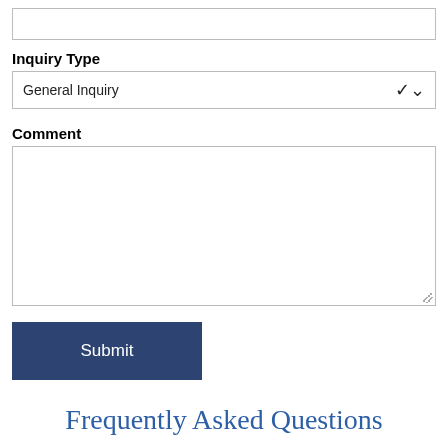Inquiry Type
General Inquiry
Comment
Submit
Frequently Asked Questions